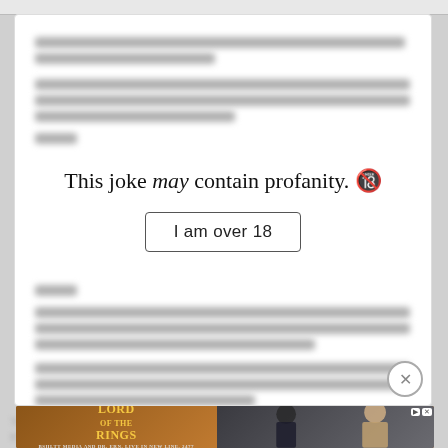[Figure (screenshot): A joke card with blurred/redacted text showing a profanity warning overlay. The overlay reads 'This joke may contain profanity. 🔞' with an 'I am over 18' button. The surrounding text is blurred out.]
This joke may contain profanity. 🔞
I am over 18
[Figure (screenshot): Advertisement banner for The Lord of the Rings at Hot Topic with 'SHOP NOW' button, showing two characters in costume.]
Two... woo... ole. It's s... hunt...